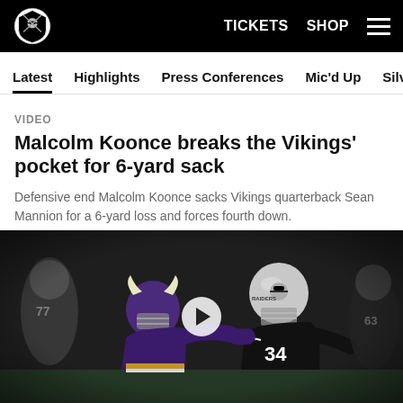Raiders | TICKETS  SHOP  ☰
Latest  Highlights  Press Conferences  Mic'd Up  Silver & Black
VIDEO
Malcolm Koonce breaks the Vikings' pocket for 6-yard sack
Defensive end Malcolm Koonce sacks Vikings quarterback Sean Mannion for a 6-yard loss and forces fourth down.
[Figure (photo): Football players in action: a Vikings player in purple helmet and a Raiders player wearing #34 in black and silver uniform, with other players blurred in background. A play button overlay is centered on the image.]